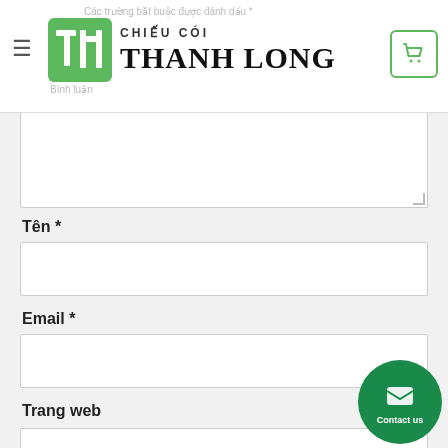Các trường bắt buộc được đánh dấu *
[Figure (logo): Chiều Cối Thanh Long logo with green TL icon and serif brand name]
Bình luận *
Tên *
Email *
Trang web